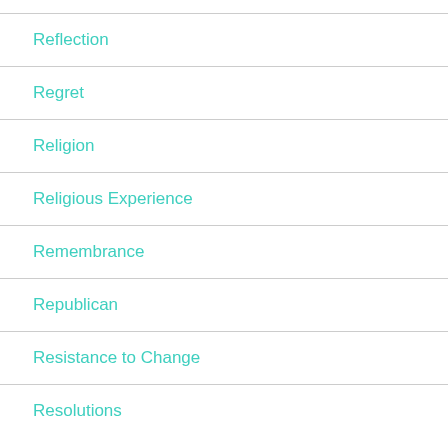Reflection
Regret
Religion
Religious Experience
Remembrance
Republican
Resistance to Change
Resolutions